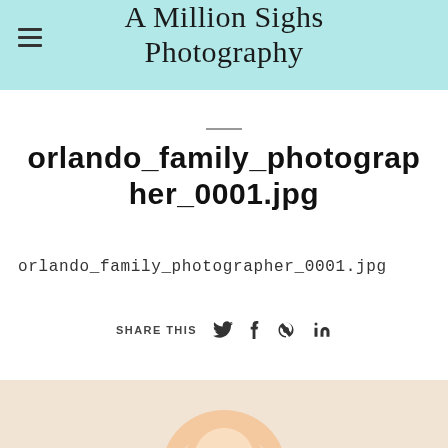A Million Sighs Photography
orlando_family_photographer_0001.jpg
orlando_family_photographer_0001.jpg
SHARE THIS
[Figure (photo): Bottom portion of a photo showing a child with light skin, partially visible at the bottom of the page]